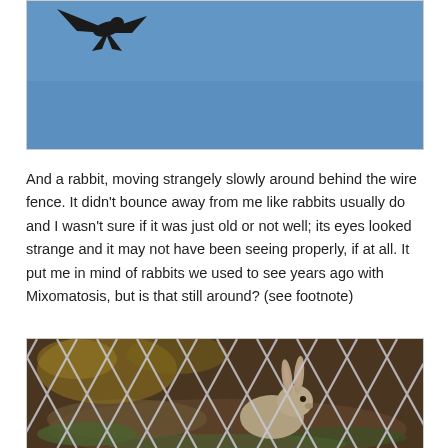[Figure (photo): A bird (dark silhouette with wings) against a blue sky, partially cropped at top of page]
And a rabbit, moving strangely slowly around behind the wire fence. It didn't bounce away from me like rabbits usually do and I wasn't sure if it was just old or not well; its eyes looked strange and it may not have been seeing properly, if at all. It put me in mind of rabbits we used to see years ago with Mixomatosis, but is that still around? (see footnote)
[Figure (photo): A rabbit sitting behind a wire chain-link fence, photographed through the fence with autumnal ground cover visible]